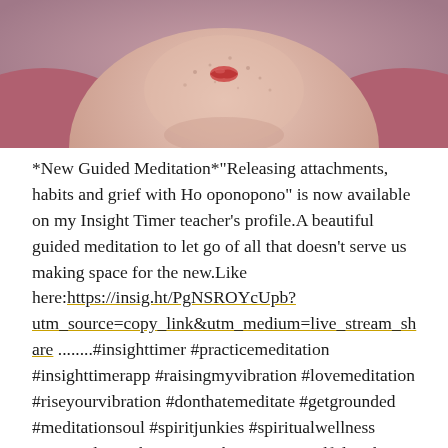[Figure (photo): Close-up photo of a person's lower face and neck, showing skin with freckles, lips with red lipstick, and a pink/mauve hoodie or shirt visible on both sides]
*New Guided Meditation*"Releasing attachments, habits and grief with Ho oponopono" is now available on my Insight Timer teacher's profile.A beautiful guided meditation to let go of all that doesn't serve us making space for the new.Like here:https://insig.ht/PgNSROYcUpb?utm_source=copy_link&utm_medium=live_stream_share ........#insighttimer #practicemeditation #insighttimerapp #raisingmyvibration #lovemeditation #riseyourvibration #donthatemeditate #getgrounded #meditationsoul #spiritjunkies #spiritualwellness #spiritualgrowth #raisingvibrations #mindfulmeditation